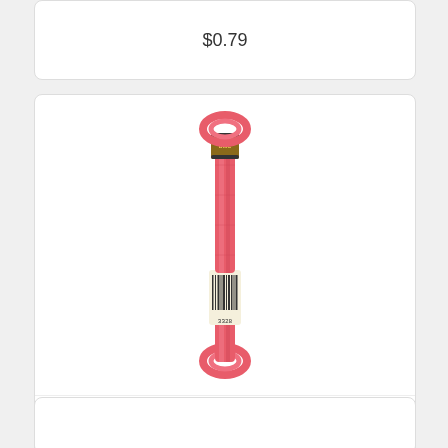$0.79
[Figure (photo): A skein of DMC embroidery floss color 3328 Dark Salmon, pink-red thread with a gold and black label and barcode in the middle]
Embroider Floss 8.7yd Dk Salmon
$0.79